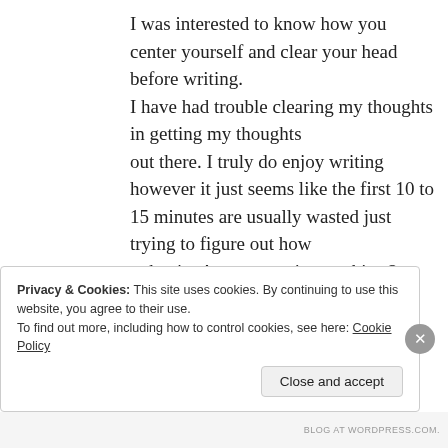I was interested to know how you center yourself and clear your head before writing. I have had trouble clearing my thoughts in getting my thoughts out there. I truly do enjoy writing however it just seems like the first 10 to 15 minutes are usually wasted just trying to figure out how to begin. Any suggestions or hints? Thanks!
★ Like
Privacy & Cookies: This site uses cookies. By continuing to use this website, you agree to their use. To find out more, including how to control cookies, see here: Cookie Policy
Close and accept
BLOG AT WORDPRESS.COM.